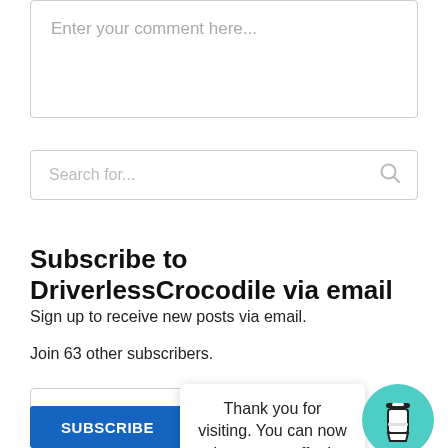Enter your comment here...
Search for...
Subscribe to DriverlessCrocodile via email
Sign up to receive new posts via email.
Join 63 other subscribers.
Email Add
SUBSCRIBE
Thank you for visiting. You can now buy me a coffee!